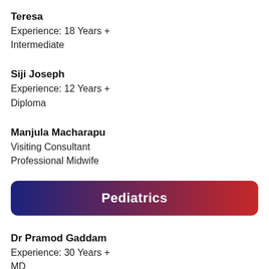Teresa
Experience: 18 Years +
Intermediate
Siji Joseph
Experience: 12 Years +
Diploma
Manjula Macharapu
Visiting Consultant
Professional Midwife
Pediatrics
Dr Pramod Gaddam
Experience: 30 Years +
MD